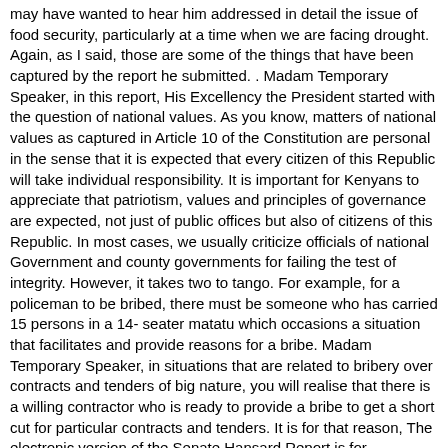may have wanted to hear him addressed in detail the issue of food security, particularly at a time when we are facing drought. Again, as I said, those are some of the things that have been captured by the report he submitted. . Madam Temporary Speaker, in this report, His Excellency the President started with the question of national values. As you know, matters of national values as captured in Article 10 of the Constitution are personal in the sense that it is expected that every citizen of this Republic will take individual responsibility. It is important for Kenyans to appreciate that patriotism, values and principles of governance are expected, not just of public offices but also of citizens of this Republic. In most cases, we usually criticize officials of national Government and county governments for failing the test of integrity. However, it takes two to tango. For example, for a policeman to be bribed, there must be someone who has carried 15 persons in a 14- seater matatu which occasions a situation that facilitates and provide reasons for a bribe. Madam Temporary Speaker, in situations that are related to bribery over contracts and tenders of big nature, you will realise that there is a willing contractor who is ready to provide a bribe to get a short cut for particular contracts and tenders. It is for that reason, The electronic version of the Senate Hansard Report is for information purposes only. A certified version of this Report can